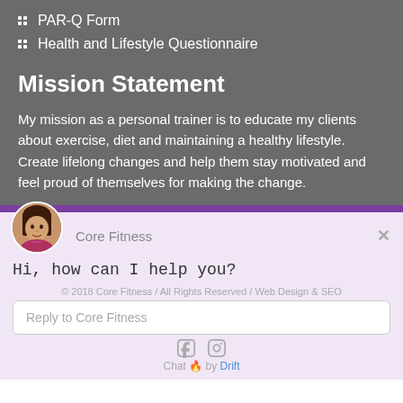PAR-Q Form
Health and Lifestyle Questionnaire
Mission Statement
My mission as a personal trainer is to educate my clients about exercise, diet and maintaining a healthy lifestyle. Create lifelong changes and help them stay motivated and feel proud of themselves for making the change.
[Figure (photo): Circular avatar photo of a woman with dark hair in chat widget header]
Core Fitness
Hi, how can I help you?
© 2018 Core Fitness / All Rights Reserved / Web Design & SEO
Reply to Core Fitness
Chat 🔥 by Drift